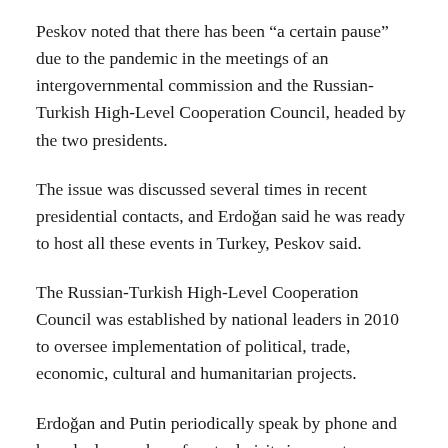Peskov noted that there has been “a certain pause” due to the pandemic in the meetings of an intergovernmental commission and the Russian-Turkish High-Level Cooperation Council, headed by the two presidents.
The issue was discussed several times in recent presidential contacts, and Erdoğan said he was ready to host all these events in Turkey, Peskov said.
The Russian-Turkish High-Level Cooperation Council was established by national leaders in 2010 to oversee implementation of political, trade, economic, cultural and humanitarian projects.
Erdoğan and Putin periodically speak by phone and have had a number of mutual visits in recent years. Erdoğan has a close working relationship with Putin despite disagreeing with the